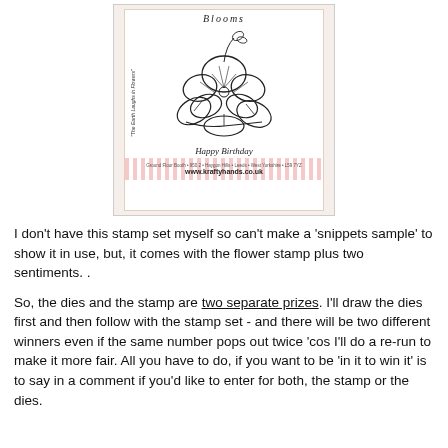[Figure (photo): Photo of a rubber stamp set in a wooden/pink frame. The stamp shows a floral design (pansy/violet flowers with leaves), vertical text reading 'The Earth Laughs in Flowers', a cursive title at top reading 'Blooms', sentiment 'Happy Birthday', and website www.kraftyhands.co.uk with striped pink background at bottom.]
I don't have this stamp set myself so can't make a 'snippets sample' to show it in use, but, it comes with the flower stamp plus two sentiments. .
So, the dies and the stamp are two separate prizes. I'll draw the dies first and then follow with the stamp set - and there will be two different winners even if the same number pops out twice 'cos I'll do a re-run to make it more fair. All you have to do, if you want to be 'in it to win it' is to say in a comment if you'd like to enter for both, the stamp or the dies.